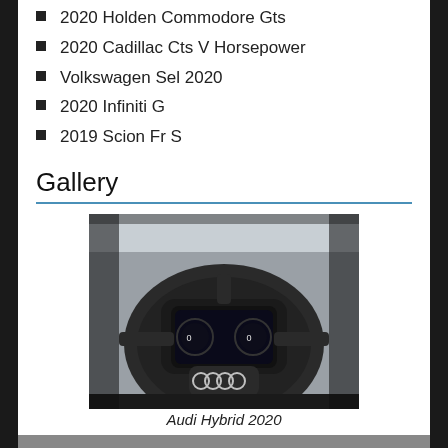2020 Holden Commodore Gts
2020 Cadillac Cts V Horsepower
Volkswagen Sel 2020
2020 Infiniti G
2019 Scion Fr S
Gallery
[Figure (photo): Close-up interior photo of an Audi steering wheel showing the four rings logo and digital instrument cluster behind it, taken from driver perspective]
Audi Hybrid 2020